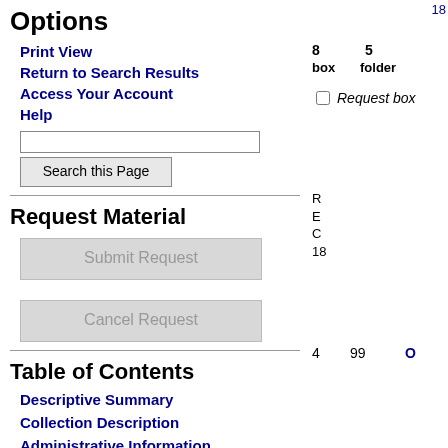Options
Print View
Return to Search Results
Access Your Account
Help
Search this Page
Request Material
Submit Request
Cancel Request
Table of Contents
Descriptive Summary
Collection Description
Administrative Information
8
box
5
folder
Request box (checkbox)
18
R
E
C
18
4
99
O
O...
gu
ac
tr
18
4
100
A
E
W